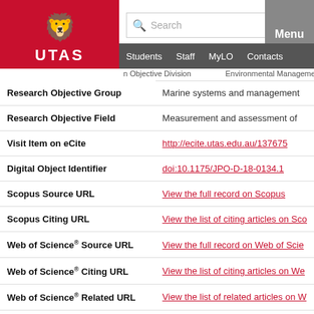[Figure (logo): University of Tasmania (UTAS) red logo with lion crest]
Search | Menu | Students | Staff | MyLO | Contacts
| Field | Value |
| --- | --- |
| Research Objective Group | Marine systems and management |
| Research Objective Field | Measurement and assessment of |
| Visit Item on eCite | http://ecite.utas.edu.au/137675 |
| Digital Object Identifier | doi:10.1175/JPO-D-18-0134.1 |
| Scopus Source URL | View the full record on Scopus |
| Scopus Citing URL | View the list of citing articles on Sco |
| Web of Science® Source URL | View the full record on Web of Scie |
| Web of Science® Citing URL | View the list of citing articles on We |
| Web of Science® Related URL | View the list of related articles on W |
| Number of Times Cited | 19 |